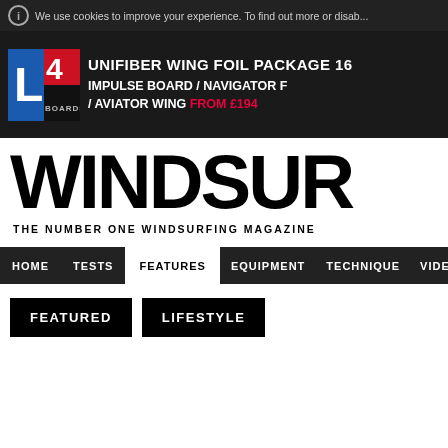We use cookies to improve your experience. To find out more or disab...
[Figure (illustration): L4 Boards advertisement banner for Unifiber Wing Foil Package 16 — Impulse Board / Navigator F / Aviator Wing from £194]
WINDSURF
THE NUMBER ONE WINDSURFING MAGAZINE
HOME  TESTS  FEATURES  EQUIPMENT  TECHNIQUE  VIDEOS  TRAVEL
FEATURED
LIFESTYLE